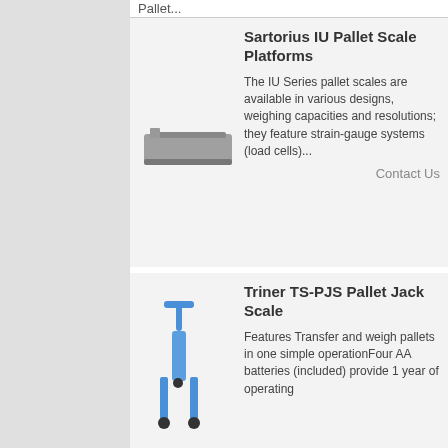Pallet...
Sartorius IU Pallet Scale Platforms
[Figure (photo): Photo of Sartorius IU pallet scale platform, a flat rectangular metal weighing platform]
The IU Series pallet scales are available in various designs, weighing capacities and resolutions; they feature strain-gauge systems (load cells)...
Contact Us
Triner TS-PJS Pallet Jack Scale
[Figure (photo): Photo of Triner TS-PJS Pallet Jack Scale, a blue pallet jack with built-in scale]
Features Transfer and weigh pallets in one simple operationFour AA batteries (included) provide 1 year of operating
Contact Us